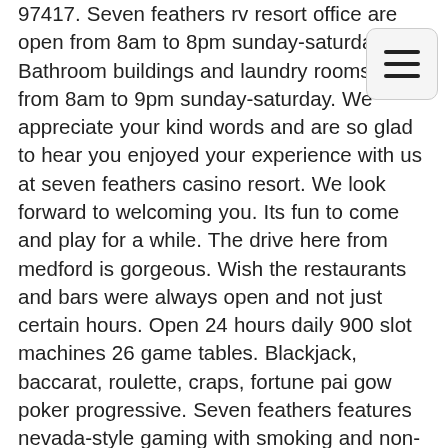97417. Seven feathers rv resort office are open from 8am to 8pm sunday-saturday. Bathroom buildings and laundry rooms open from 8am to 9pm sunday-saturday. We appreciate your kind words and are so glad to hear you enjoyed your experience with us at seven feathers casino resort. We look forward to welcoming you. Its fun to come and play for a while. The drive here from medford is gorgeous. Wish the restaurants and bars were always open and not just certain hours. Open 24 hours daily 900 slot machines 26 game tables. Blackjack, baccarat, roulette, craps, fortune pai gow poker progressive. Seven feathers features nevada-style gaming with smoking and non-smoking casino areas, over 1,000 slots, several varieties of table games, bingo and keno. Seven feathers casino resort: avoid until covid is gone. Open today: 7:00 am - 2:30 am. That more traditional players are
[Figure (other): Hamburger menu button icon — three horizontal lines inside a rounded rectangle]